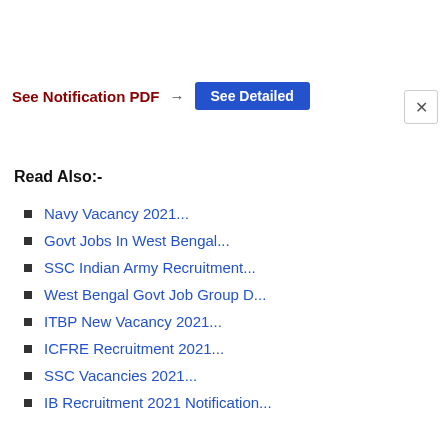See Notification PDF  →  See Detailed
Read Also:-
Navy Vacancy 2021...
Govt Jobs In West Bengal...
SSC Indian Army Recruitment...
West Bengal Govt Job Group D...
ITBP New Vacancy 2021...
ICFRE Recruitment 2021...
SSC Vacancies 2021...
IB Recruitment 2021 Notification...